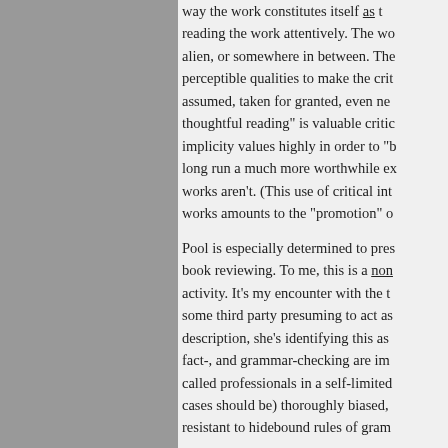way the work constitutes itself as reading the work attentively. The wo alien, or somewhere in between. The perceptible qualities to make the crit assumed, taken for granted, even ne thoughtful reading" is valuable critic implicity values highly in order to "b long run a much more worthwhile ex works aren't. (This use of critical int works amounts to the "promotion" o
Pool is especially determined to pres book reviewing. To me, this is a non activity. It's my encounter with the t some third party presuming to act as description, she's identifying this as fact-, and grammar-checking are im called professionals in a self-limited cases should be) thoroughly biased, resistant to hidebound rules of gram